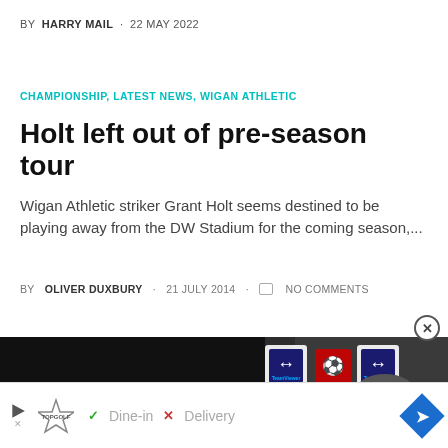BY HARRY MAIL · 22 MAY 2022
CHAMPIONSHIP, LATEST NEWS, WIGAN ATHLETIC
Holt left out of pre-season tour
Wigan Athletic striker Grant Holt seems destined to be playing away from the DW Stadium for the coming season,...
BY OLIVER DUXBURY · 21 JULY 2014 · NO COMMENTS
[Figure (screenshot): Video player overlay showing a press conference scene with a person wearing a cap, TeamViewer logos and Manchester United logos visible in background. Navigation links 'About The72' and 'Contact' visible at bottom of overlay.]
[Figure (screenshot): Advertisement bar at bottom showing TopGolf logo with play button, checkmark Dine-in, X Delivery, and blue diamond arrow icon.]